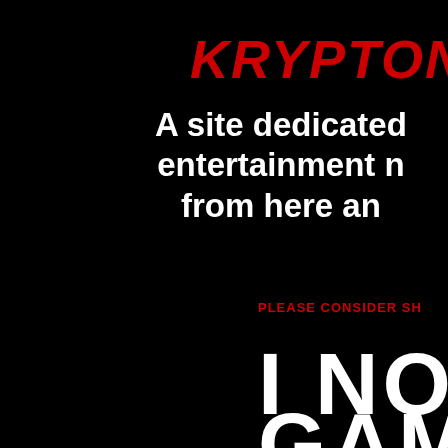KRYPTON
A site dedicated to entertainment n... from here an...
PLEASE CONSIDER SH...
I NO
GAMI...